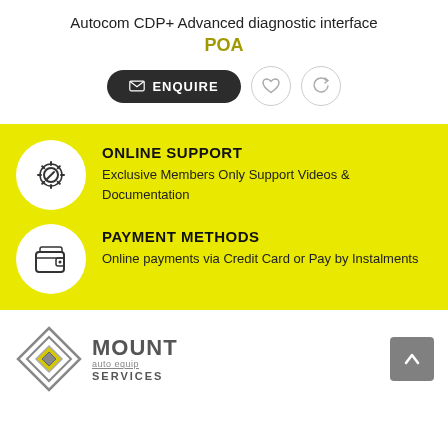Autocom CDP+ Advanced diagnostic interface
POA
[Figure (infographic): Enquire button, heart icon button, and refresh icon button]
[Figure (infographic): Yellow section with ONLINE SUPPORT and PAYMENT METHODS features, each with a circular icon and descriptive text]
[Figure (logo): Mount Auto Equip Services logo with diamond-shaped graphic and text]